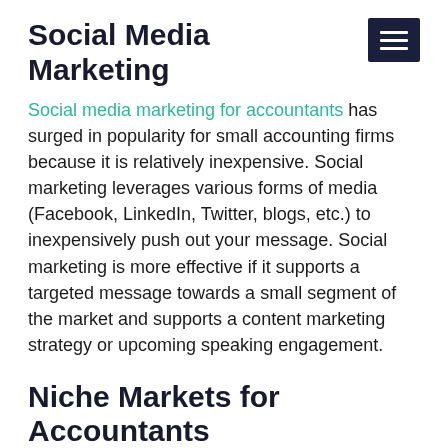Social Media Marketing
Social media marketing for accountants has surged in popularity for small accounting firms because it is relatively inexpensive. Social marketing leverages various forms of media (Facebook, LinkedIn, Twitter, blogs, etc.) to inexpensively push out your message. Social marketing is more effective if it supports a targeted message towards a small segment of the market and supports a content marketing strategy or upcoming speaking engagement.
Niche Markets for Accountants
Firms that develop an accounting niche are able to grow at faster rates and effectively avoid price